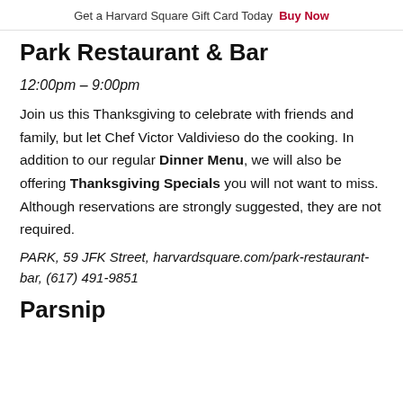Get a Harvard Square Gift Card Today  Buy Now
Park Restaurant & Bar
12:00pm – 9:00pm
Join us this Thanksgiving to celebrate with friends and family, but let Chef Victor Valdivieso do the cooking. In addition to our regular Dinner Menu, we will also be offering Thanksgiving Specials you will not want to miss. Although reservations are strongly suggested, they are not required.
PARK, 59 JFK Street, harvardsquare.com/park-restaurant-bar, (617) 491-9851
Parsnip